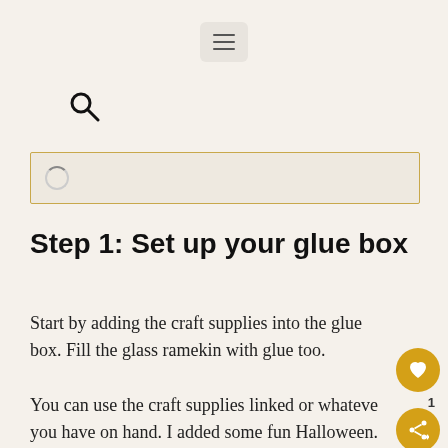[Figure (other): Hamburger menu button (three horizontal lines) in a rounded rectangle]
[Figure (other): Search icon (magnifying glass)]
[Figure (other): Search bar input field with loading spinner, bordered in gold/yellow]
Step 1: Set up your glue box
Start by adding the craft supplies into the glue box. Fill the glass ramekin with glue too.
You can use the craft supplies linked or whateve you have on hand. I added some fun Halloween.